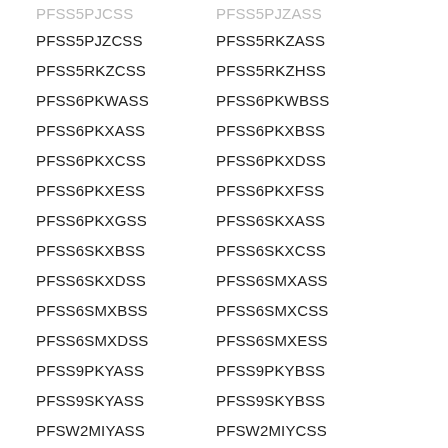PFSS5PJZCSS    PFSS5RKZASS
PFSS5RKZCSS    PFSS5RKZHSS
PFSS6PKWASS    PFSS6PKWBSS
PFSS6PKXASS    PFSS6PKXBSS
PFSS6PKXCSS    PFSS6PKXDSS
PFSS6PKXESS    PFSS6PKXFSS
PFSS6PKXGSS    PFSS6SKXASS
PFSS6SKXBSS    PFSS6SKXCSS
PFSS6SKXDSS    PFSS6SMXASS
PFSS6SMXBSS    PFSS6SMXCSS
PFSS6SMXDSS    PFSS6SMXESS
PFSS9PKYASS    PFSS9PKYBSS
PFSS9SKYASS    PFSS9SKYBSS
PFSW2MIYASS    PFSW2MIYCSS
PGCS1NEYASS    PGCS1NEZASS